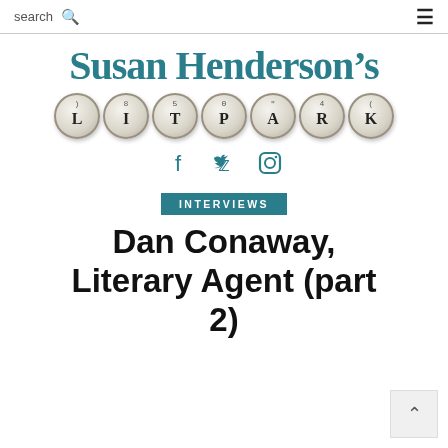search ≡
[Figure (logo): Susan Henderson's LitPark logo with typewriter keys spelling LITPARK and teal serif text]
[Figure (infographic): Social media icons: Facebook, Twitter, Instagram in teal]
INTERVIEWS
Dan Conaway, Literary Agent (part 2)